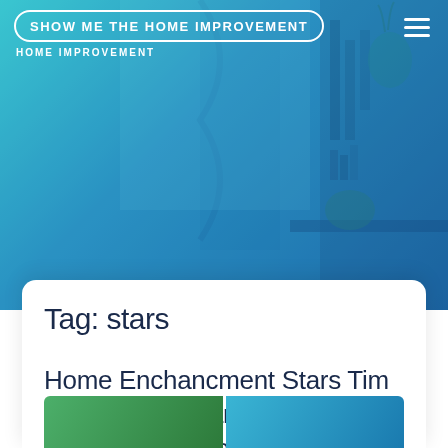SHOW ME THE HOME IMPROVEMENT / HOME IMPROVEMENT
[Figure (photo): Teal/blue gradient banner background with blurred indoor home decor scene]
Tag: stars
Home Enchancment Stars Tim Allen And Richard Karn Land New Present Referred to as Assembly Required
Michael · November 30, 2019, 4:54 pm